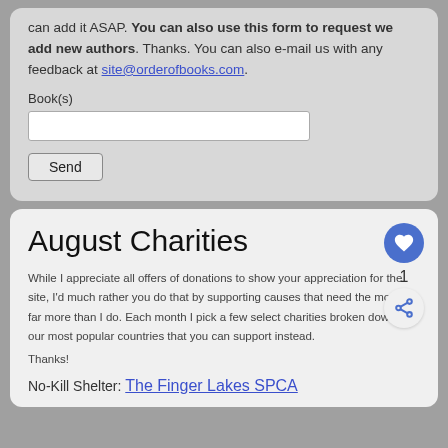can add it ASAP. You can also use this form to request we add new authors. Thanks. You can also e-mail us with any feedback at site@orderofbooks.com.
Book(s)
Send
August Charities
While I appreciate all offers of donations to show your appreciation for the site, I'd much rather you do that by supporting causes that need the money far more than I do. Each month I pick a few select charities broken down by our most popular countries that you can support instead.
Thanks!
No-Kill Shelter: The Finger Lakes SPCA